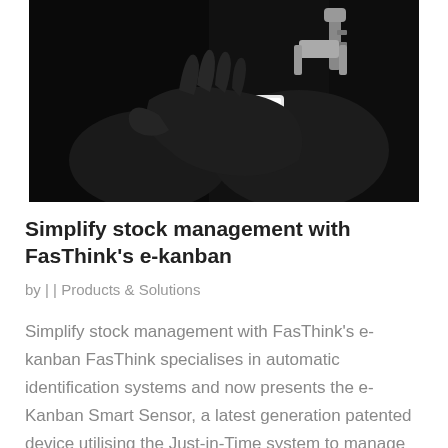[Figure (photo): Dark background photo showing a hand or mechanical device holding a small white labeled sensor/electronic component (FasThink e-Kanban Smart Sensor), with metal parts visible.]
Simplify stock management with FasThink's e-kanban
by |  | Products & Solutions
Simplify stock management with FasThink's e-kanban FasThink specialises in automatic identification systems and now presents the e-Kanban Smart Sensor, a latest generation patented device utilising the Just-in-Time system to manage data in real time and communicate...